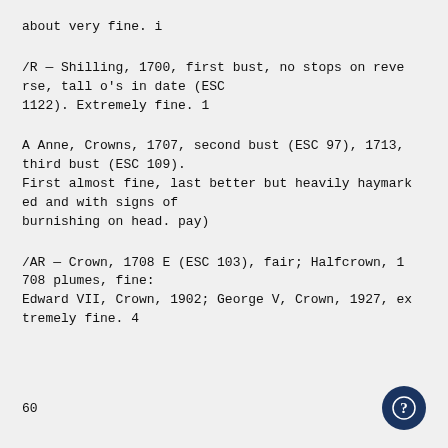about very fine. i
/R — Shilling, 1700, first bust, no stops on reverse, tall o's in date (ESC 1122). Extremely fine. 1
A Anne, Crowns, 1707, second bust (ESC 97), 1713, third bust (ESC 109).
First almost fine, last better but heavily haymarked and with signs of
burnishing on head. pay)
/AR — Crown, 1708 E (ESC 103), fair; Halfcrown, 1708 plumes, fine:
Edward VII, Crown, 1902; George V, Crown, 1927, extremely fine. 4
60